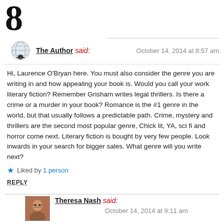8
[Figure (illustration): Globe with reading glasses avatar icon for The Author commenter]
The Author said: October 14, 2014 at 8:57 am
Hi, Laurence O'Bryan here. You must also consider the genre you are writing in and how appealing your book is. Would you call your work literary fiction? Remember Grisham writes legal thrillers. Is there a crime or a murder in your book? Romance is the #1 genre in the world, but that usually follows a predictable path. Crime, mystery and thrillers are the second most popular genre, Chick lit, YA, sci fi and horror come next. Literary fiction is bought by very few people. Look inwards in your search for bigger sales. What genre will you write next?
★ Liked by 1 person
REPLY
[Figure (photo): Small profile photo of Theresa Nash, a woman with glasses]
Theresa Nash said:
October 14, 2014 at 9:11 am